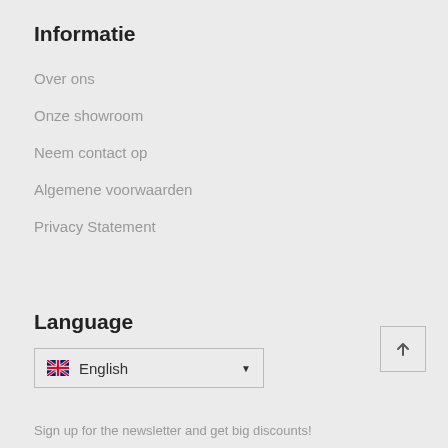Informatie
Over ons
Onze showroom
Neem contact op
Algemene voorwaarden
Privacy Statement
Language
[Figure (other): Language selector dropdown showing UK flag and 'English' with a dropdown arrow]
[Figure (other): Back to top button with upward arrow]
Sign up for the newsletter and get big discounts!